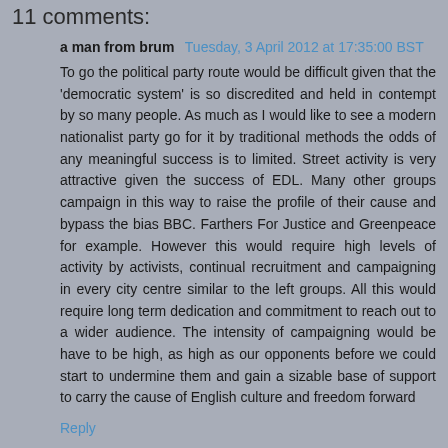11 comments:
a man from brum Tuesday, 3 April 2012 at 17:35:00 BST
To go the political party route would be difficult given that the 'democratic system' is so discredited and held in contempt by so many people. As much as I would like to see a modern nationalist party go for it by traditional methods the odds of any meaningful success is to limited. Street activity is very attractive given the success of EDL. Many other groups campaign in this way to raise the profile of their cause and bypass the bias BBC. Farthers For Justice and Greenpeace for example. However this would require high levels of activity by activists, continual recruitment and campaigning in every city centre similar to the left groups. All this would require long term dedication and commitment to reach out to a wider audience. The intensity of campaigning would be have to be high, as high as our opponents before we could start to undermine them and gain a sizable base of support to carry the cause of English culture and freedom forward
Reply